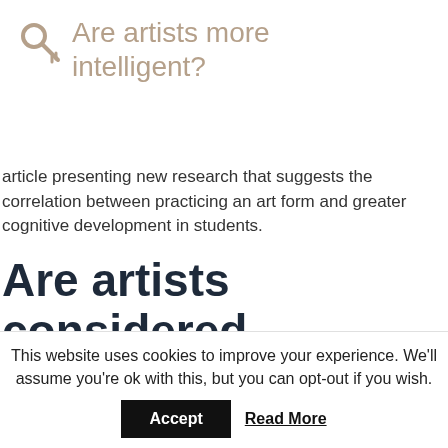Are artists more intelligent?
article presenting new research that suggests the correlation between practicing an art form and greater cognitive development in students.
Are artists considered intellectuals?
Artists as (Public) Intellectuals considers how the definition of the term "intellectual" in a broader sense might be expanded by thinking of artists
This website uses cookies to improve your experience. We'll assume you're ok with this, but you can opt-out if you wish.